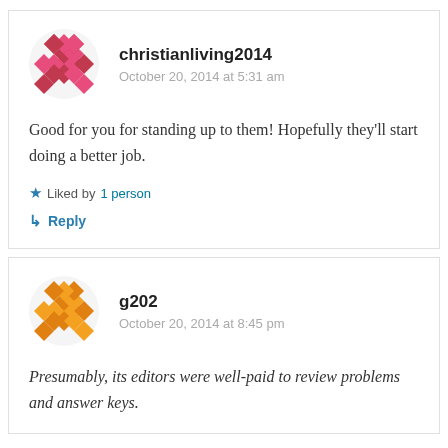[Figure (illustration): Pink/red mosaic avatar for christianliving2014]
christianliving2014
October 20, 2014 at 5:31 am
Good for you for standing up to them! Hopefully they'll start doing a better job.
Liked by 1 person
Reply
[Figure (illustration): Orange mosaic avatar for g202]
g202
October 20, 2014 at 8:45 pm
Presumably, its editors were well-paid to review problems and answer keys.